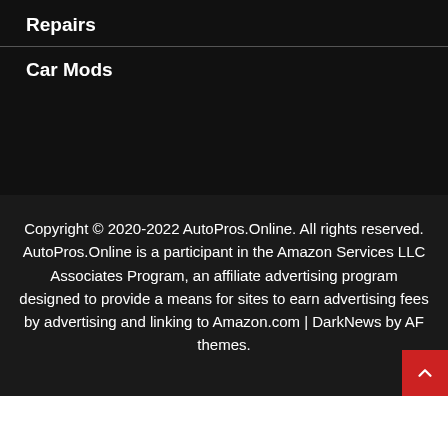Repairs
Car Mods
Copyright © 2020-2022 AutoPros.Online. All rights reserved. AutoPros.Online is a participant in the Amazon Services LLC Associates Program, an affiliate advertising program designed to provide a means for sites to earn advertising fees by advertising and linking to Amazon.com | DarkNews by AF themes.
ezoic   report this ad